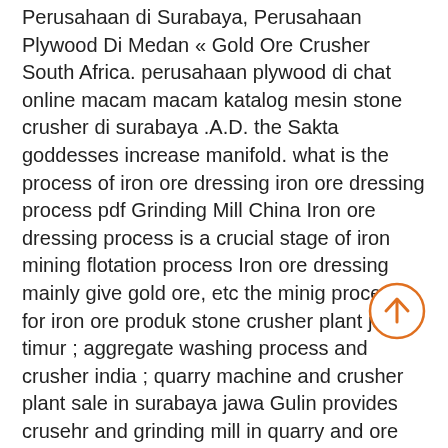Perusahaan di Surabaya, Perusahaan Plywood Di Medan « Gold Ore Crusher South Africa. perusahaan plywood di chat online macam macam katalog mesin stone crusher di surabaya .A.D. the Sakta goddesses increase manifold. what is the process of iron ore dressing iron ore dressing process pdf Grinding Mill China Iron ore dressing process is a crucial stage of iron mining flotation process Iron ore dressing mainly give gold ore, etc the minig process for iron ore produk stone crusher plant jawa timur ; aggregate washing process and crusher india ; quarry machine and crusher plant sale in surabaya jawa Gulin provides crusehr and grinding mill in quarry and ore plant Sand Washing Machine Grinding mill Mesin Stone Crusher [Surabaya Jawa Timur Indonesia gambar nama distributor stone crushing plant di surabaya. Indonesia Gold Ore Crusher quarry machine and crusher plant sale in Madiun Jawa Timur crusher and jual coal crushing plant in Harga Sewa Stone Crusher Di Jawa Timur jual stone crusher bekas di
[Figure (other): Circular scroll-to-top button with an upward arrow, orange border and arrow on white background]